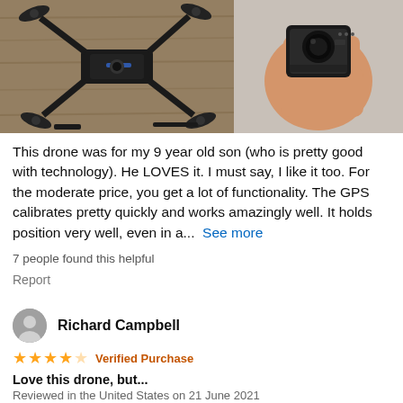[Figure (photo): Two photos side by side: left photo shows a black drone laid flat on a wooden surface with its arms folded out, right photo shows a hand holding a drone camera/gimbal module close-up]
This drone was for my 9 year old son (who is pretty good with technology). He LOVES it. I must say, I like it too. For the moderate price, you get a lot of functionality. The GPS calibrates pretty quickly and works amazingly well. It holds position very well, even in a...  See more
7 people found this helpful
Report
Richard Campbell
★★★★☆ Verified Purchase
Love this drone, but...
Reviewed in the United States on 21 June 2021
I love this drone, but... 1) It's very tempramental in the wind...